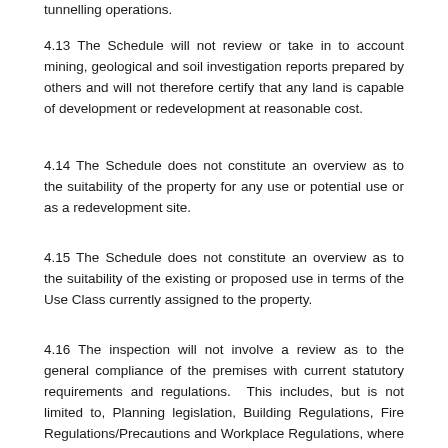tunnelling operations.
4.13 The Schedule will not review or take in to account mining, geological and soil investigation reports prepared by others and will not therefore certify that any land is capable of development or redevelopment at reasonable cost.
4.14 The Schedule does not constitute an overview as to the suitability of the property for any use or potential use or as a redevelopment site.
4.15 The Schedule does not constitute an overview as to the suitability of the existing or proposed use in terms of the Use Class currently assigned to the property.
4.16 The inspection will not involve a review as to the general compliance of the premises with current statutory requirements and regulations. This includes, but is not limited to, Planning legislation, Building Regulations, Fire Regulations/Precautions and Workplace Regulations, where applicable. The inspection or resultant Schedule does not constitute a risk assessment to satisfy